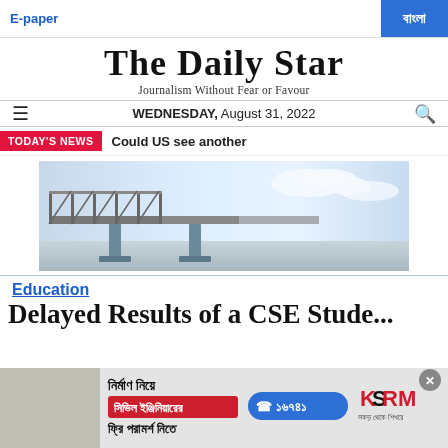E-paper
বাংলা
The Daily Star
Journalism Without Fear or Favour
WEDNESDAY, August 31, 2022
TODAY'S NEWS   Could US see another
[Figure (photo): A large bridge structure over water under a blue sky]
Education
Delayed Results of a CSE Stude...
[Figure (infographic): Advertisement banner in Bengali for civil engineering consultation services, featuring KSRM brand and phone number 16741]